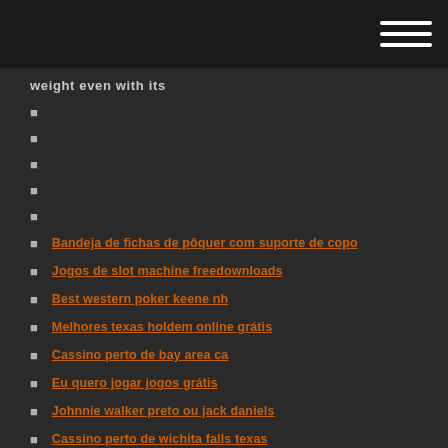weight even with its
Bandeja de fichas de pôquer com suporte de copo
Jogos de slot machine freedownloads
Best western poker keene nh
Melhores texas holdem online grátis
Cassino perto de bay area ca
Eu quero jogar jogos grátis
Johnnie walker preto ou jack daniels
Cassino perto de wichita falls texas